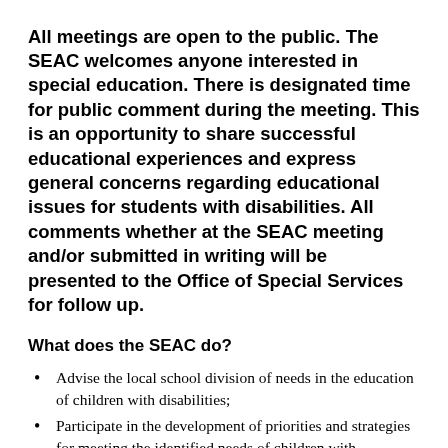All meetings are open to the public. The SEAC welcomes anyone interested in special education. There is designated time for public comment during the meeting. This is an opportunity to share successful educational experiences and express general concerns regarding educational issues for students with disabilities. All comments whether at the SEAC meeting and/or submitted in writing will be presented to the Office of Special Services for follow up.
What does the SEAC do?
Advise the local school division of needs in the education of children with disabilities;
Participate in the development of priorities and strategies for meeting the identified needs of children with disabilities;
Submit periodic reports and recommendations regarding the education of